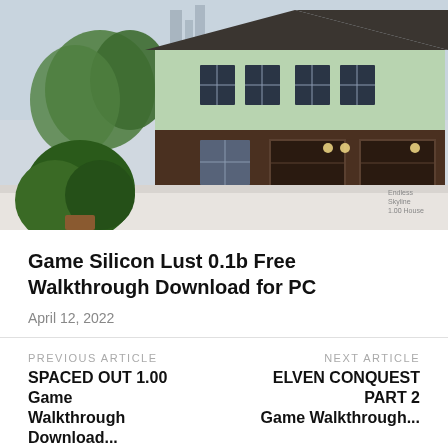[Figure (photo): A 3D rendered or photorealistic image of a suburban house viewed from an angle, showing a green/mint colored two-story house with dark brown lower exterior, a two-car garage, trees and bushes in front, and a potted plant in the foreground on a windowsill.]
Game Silicon Lust 0.1b Free Walkthrough Download for PC
April 12, 2022
PREVIOUS ARTICLE
SPACED OUT 1.00 Game Walkthrough Download...
NEXT ARTICLE
ELVEN CONQUEST PART 2 Game Walkthrough...